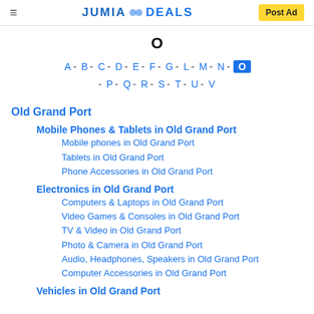JUMIA DEALS | Post Ad
O
A - B - C - D - E - F - G - L - M - N - O - P - Q - R - S - T - U - V
Old Grand Port
Mobile Phones & Tablets in Old Grand Port
Mobile phones in Old Grand Port
Tablets in Old Grand Port
Phone Accessories in Old Grand Port
Electronics in Old Grand Port
Computers & Laptops in Old Grand Port
Video Games & Consoles in Old Grand Port
TV & Video in Old Grand Port
Photo & Camera in Old Grand Port
Audio, Headphones, Speakers in Old Grand Port
Computer Accessories in Old Grand Port
Vehicles in Old Grand Port